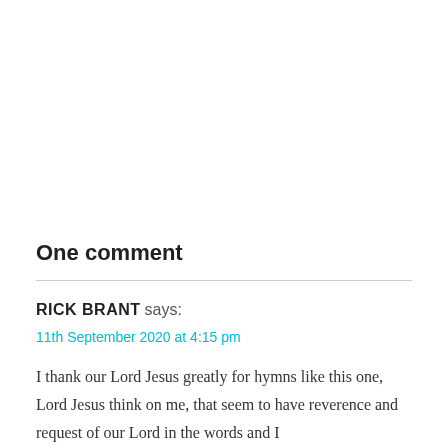One comment
RICK BRANT says:
11th September 2020 at 4:15 pm
I thank our Lord Jesus greatly for hymns like this one, Lord Jesus think on me, that seem to have reverence and request of our Lord in the words and I